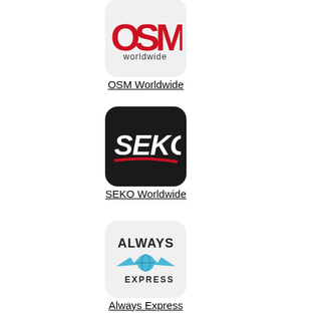[Figure (logo): OSM Worldwide logo on light gray rounded square background]
OSM Worldwide
[Figure (logo): SEKO Worldwide logo on black rounded square background]
SEKO Worldwide
[Figure (logo): Always Express logo on light gray rounded square background]
Always Express
[Figure (logo): Partial logo box at bottom, light gray rounded square background, partially cropped]